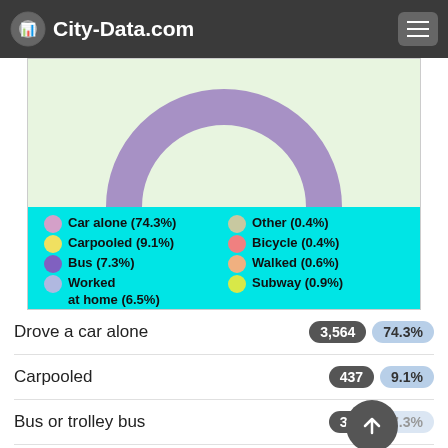City-Data.com
[Figure (donut-chart): Means of transportation to work]
| Category | Count | Percentage |
| --- | --- | --- |
| Drove a car alone | 3,564 | 74.3% |
| Carpooled | 437 | 9.1% |
| Bus or trolley bus | 351 | 7.3% |
| Subway or elevated | 44 | 0.9% |